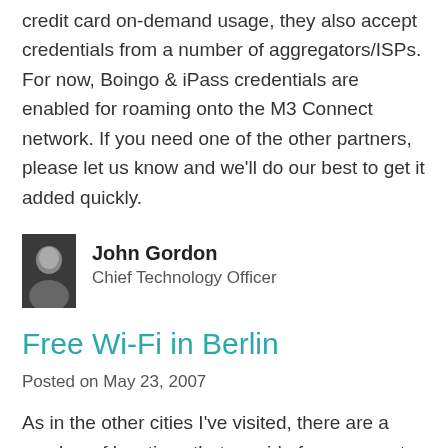credit card on-demand usage, they also accept credentials from a number of aggregators/ISPs. For now, Boingo & iPass credentials are enabled for roaming onto the M3 Connect network. If you need one of the other partners, please let us know and we'll do our best to get it added quickly.
[Figure (photo): Headshot photo of John Gordon, Chief Technology Officer]
John Gordon
Chief Technology Officer
Free Wi-Fi in Berlin
Posted on May 23, 2007
As in the other cities I've visited, there are a number of locations that provide free access to the internet for their